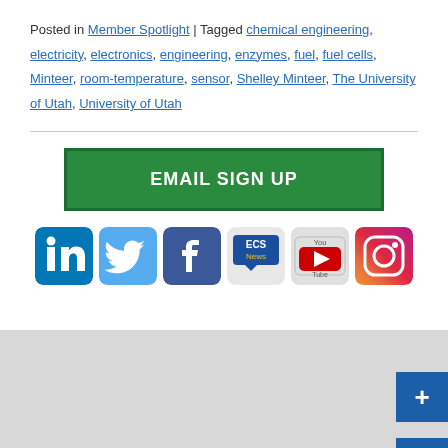Posted in Member Spotlight | Tagged chemical engineering, electricity, electronics, engineering, enzymes, fuel, fuel cells, Minteer, room-temperature, sensor, Shelley Minteer, The University of Utah, University of Utah
[Figure (other): EMAIL SIGN UP green button followed by six social media icons: LinkedIn, Twitter, Facebook, ECS News, YouTube, Instagram]
[Figure (other): Gray footer area with two blue plus (+) buttons on the right side]